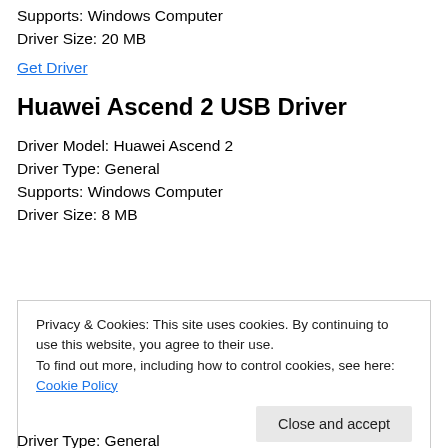Supports: Windows Computer
Driver Size: 20 MB
Get Driver
Huawei Ascend 2 USB Driver
Driver Model: Huawei Ascend 2
Driver Type: General
Supports: Windows Computer
Driver Size: 8 MB
Privacy & Cookies: This site uses cookies. By continuing to use this website, you agree to their use.
To find out more, including how to control cookies, see here: Cookie Policy
Close and accept
Driver Type: General